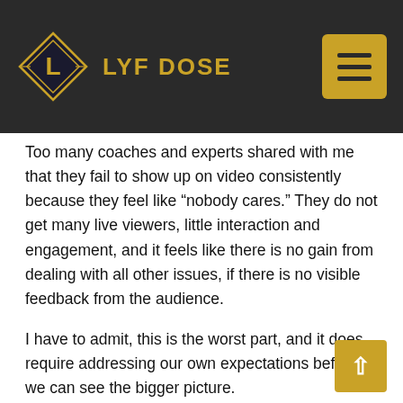LYF DOSE
Too many coaches and experts shared with me that they fail to show up on video consistently because they feel like “nobody cares.” They do not get many live viewers, little interaction and engagement, and it feels like there is no gain from dealing with all other issues, if there is no visible feedback from the audience.
I have to admit, this is the worst part, and it does require addressing our own expectations before we can see the bigger picture.
Growing up, most of us have been involved in some form of performing in front of other people. It could have been in a school play, delivering a speech